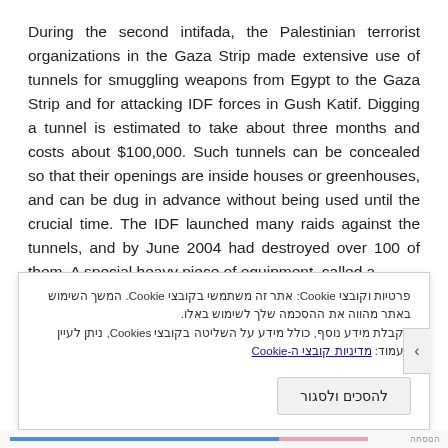During the second intifada, the Palestinian terrorist organizations in the Gaza Strip made extensive use of tunnels for smuggling weapons from Egypt to the Gaza Strip and for attacking IDF forces in Gush Katif. Digging a tunnel is estimated to take about three months and costs about $100,000. Such tunnels can be concealed so that their openings are inside houses or greenhouses, and can be dug in advance without being used until the crucial time. The IDF launched many raids against the tunnels, and by June 2004 had destroyed over 100 of them. A special heavy piece of equipment, called a
פרטיות וקובצי Cookie: אתר זה משתמשי בקובצי Cookie. המשך השימוש באתר מהווה את ההסכמה שלך לשימוש באלו. לקבלת מידע נוסף, כולל מידע על השליטה בקובצי Cookies, ניתן לעיין בעמוד: מדיניות קובצי ה-Cookie
להסכים ולסגור